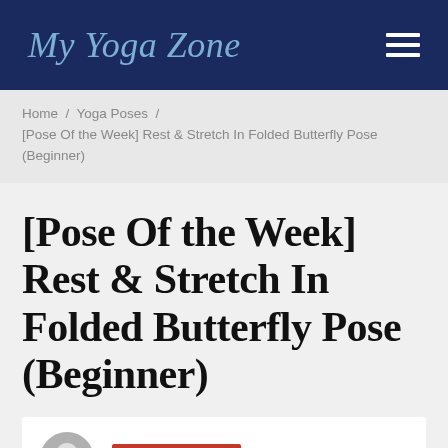My Yoga Zone
Home / Yoga Poses / [Pose Of the Week] Rest & Stretch In Folded Butterfly Pose (Beginner)
[Pose Of the Week] Rest & Stretch In Folded Butterfly Pose (Beginner)
YOGA POSES